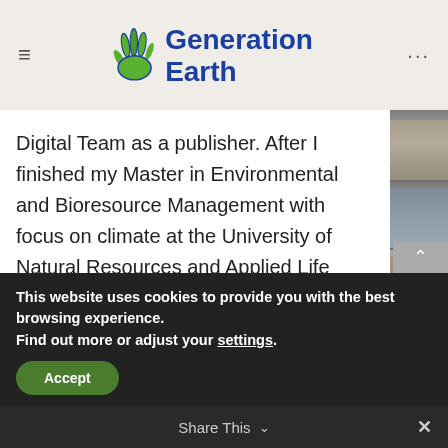Generation Earth
Digital Team as a publisher. After I finished my Master in Environmental and Bioresource Management with focus on climate at the University of Natural Resources and Applied Life Sciences, my path led me to the WWF. In the course of my tasks as Communication Manager at Generation Earth I am also the interface between the WWF and Generation Earth. Privately I love to be out in nature and spend time with my loved ones (especially my dog).
This website uses cookies to provide you with the best browsing experience. Find out more or adjust your settings.
Accept
Share This ∨  ✕